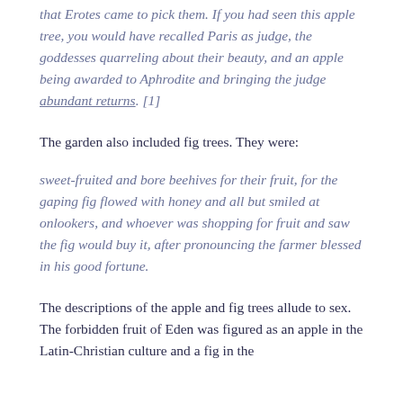that Erotes came to pick them. If you had seen this apple tree, you would have recalled Paris as judge, the goddesses quarreling about their beauty, and an apple being awarded to Aphrodite and bringing the judge abundant returns. [1]
The garden also included fig trees. They were:
sweet-fruited and bore beehives for their fruit, for the gaping fig flowed with honey and all but smiled at onlookers, and whoever was shopping for fruit and saw the fig would buy it, after pronouncing the farmer blessed in his good fortune.
The descriptions of the apple and fig trees allude to sex. The forbidden fruit of Eden was figured as an apple in the Latin-Christian culture and a fig in the